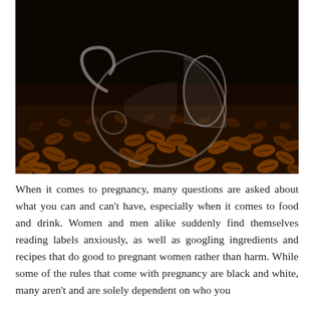[Figure (photo): A glass coffee cup tipped on its side with roasted coffee beans spilling out onto a dark surface, photographed from a low angle.]
When it comes to pregnancy, many questions are asked about what you can and can't have, especially when it comes to food and drink. Women and men alike suddenly find themselves reading labels anxiously, as well as googling ingredients and recipes that do good to pregnant women rather than harm. While some of the rules that come with pregnancy are black and white, many aren't and are solely dependent on who you